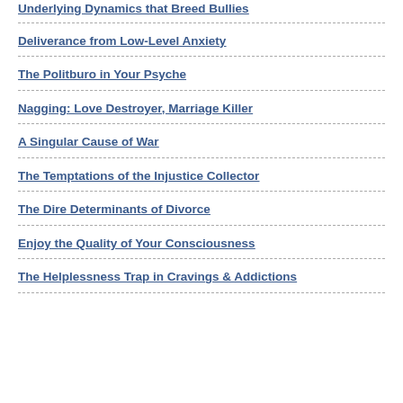Underlying Dynamics that Breed Bullies
Deliverance from Low-Level Anxiety
The Politburo in Your Psyche
Nagging: Love Destroyer, Marriage Killer
A Singular Cause of War
The Temptations of the Injustice Collector
The Dire Determinants of Divorce
Enjoy the Quality of Your Consciousness
The Helplessness Trap in Cravings & Addictions